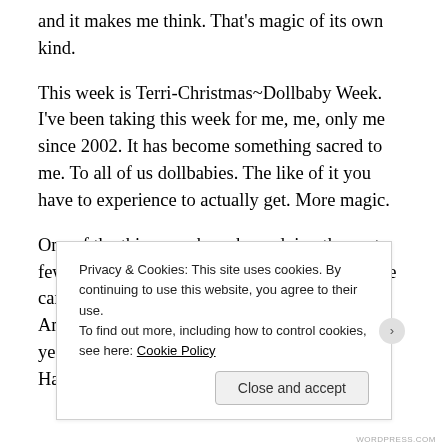and it makes me think. That's magic of its own kind.
This week is Terri-Christmas~Dollbaby Week. I've been taking this week for me, me, only me since 2002. It has become something sacred to me. To all of us dollbabies. The like of it you have to experience to actually get. More magic.
One of the things we have been doing the past few years is a Medicine Card evening. Medicine cards are kind of like Tarot, but with a Native American set of symbols and symbolism. This year was a powerful year. We drew Buffalo and Hawk, Coyote and Badger,
Privacy & Cookies: This site uses cookies. By continuing to use this website, you agree to their use.
To find out more, including how to control cookies, see here: Cookie Policy
Close and accept
WORDPRESS.COM